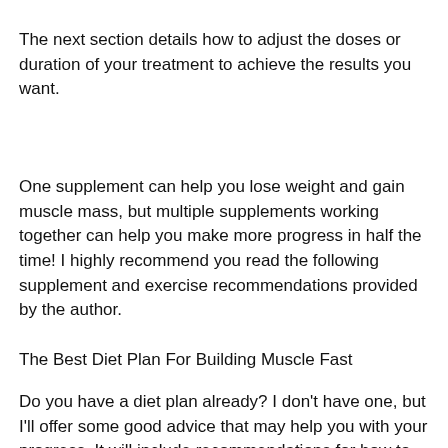The next section details how to adjust the doses or duration of your treatment to achieve the results you want.
One supplement can help you lose weight and gain muscle mass, but multiple supplements working together can help you make more progress in half the time! I highly recommend you read the following supplement and exercise recommendations provided by the author.
The Best Diet Plan For Building Muscle Fast
Do you have a diet plan already? I don't have one, but I'll offer some good advice that may help you with your progress. It will include recommendations for how to keep